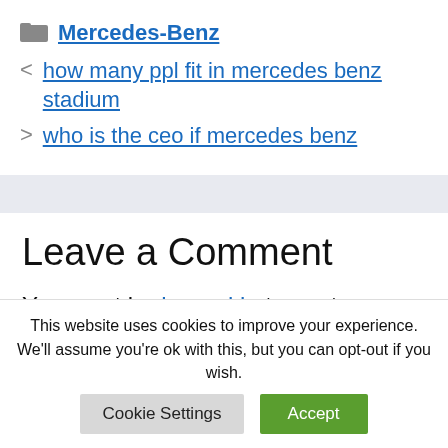Mercedes-Benz
how many ppl fit in mercedes benz stadium
who is the ceo if mercedes benz
Leave a Comment
You must be logged in to post a comment.
This website uses cookies to improve your experience. We'll assume you're ok with this, but you can opt-out if you wish.